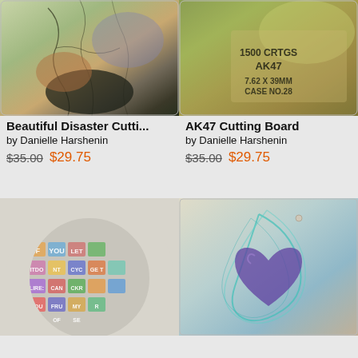[Figure (photo): Beautiful Disaster Cutting Board product photo - abstract art with cracked texture, greens and earth tones]
Beautiful Disaster Cutti...
by Danielle Harshenin
$35.00  $29.75
[Figure (photo): AK47 Cutting Board product photo - metallic plate with text: 1500 CRTGS AK47 7.62 X 39MM CASE NO.28]
AK47 Cutting Board
by Danielle Harshenin
$35.00  $29.75
[Figure (photo): Round cutting board with colorful letter collage art]
[Figure (photo): Cutting board with heart artwork in teal and purple tones]